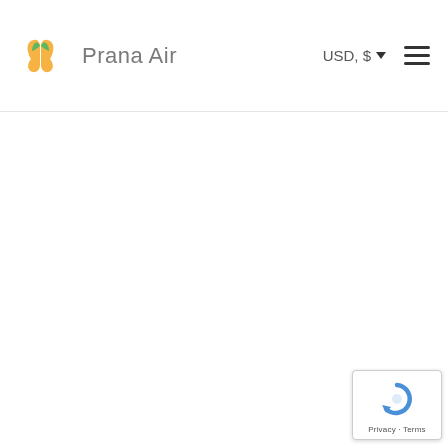Prana Air  USD, $  ☰
[Figure (logo): Prana Air logo with lung/leaf icon in orange and green, followed by 'Prana Air' text in gray]
[Figure (screenshot): reCAPTCHA badge widget in bottom right showing blue circular arrow icon with 'Privacy · Terms' text below]